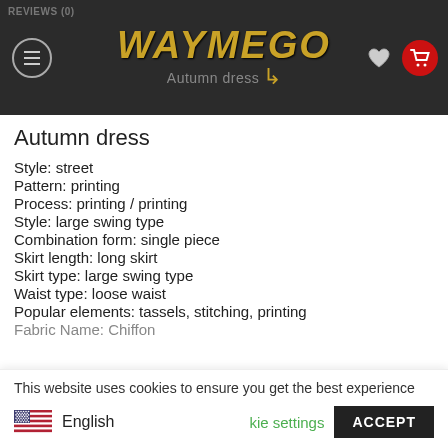WAYMEGO Autumn dress
Autumn dress
Style: street
Pattern: printing
Process: printing / printing
Style: large swing type
Combination form: single piece
Skirt length: long skirt
Skirt type: large swing type
Waist type: loose waist
Popular elements: tassels, stitching, printing
Fabric Name: Chiffon (partially visible)
This website uses cookies to ensure you get the best experience
English
cookie settings
ACCEPT